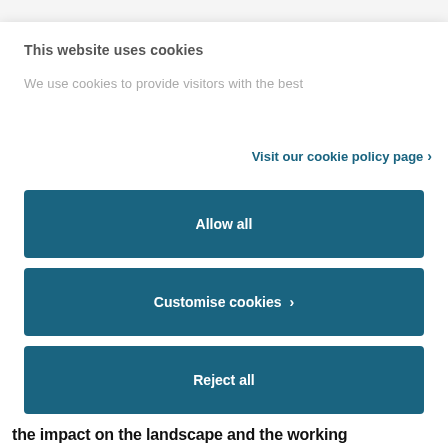This website uses cookies
We use cookies to provide visitors with the best
Visit our cookie policy page
Allow all
Customise cookies
Reject all
Powered by Cookiebot by Usercentrics
the impact on the landscape and the working